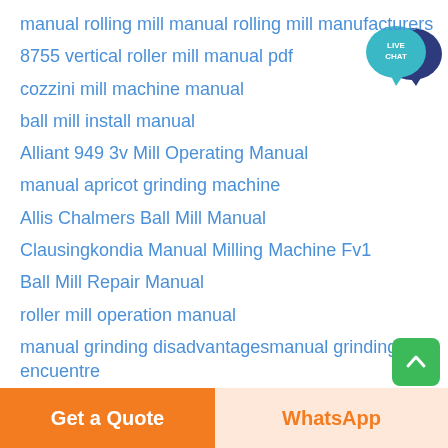manual rolling mill manual rolling mill manufacturers
8755 vertical roller mill manual pdf
cozzini mill machine manual
ball mill install manual
Alliant 949 3v Mill Operating Manual
manual apricot grinding machine
Allis Chalmers Ball Mill Manual
Clausingkondia Manual Milling Machine Fv1
Ball Mill Repair Manual
roller mill operation manual
manual grinding disadvantagesmanual grinding encuentre
manual grinder mill supplier for uk
[Figure (logo): Live Chat speech bubble icon with teal/navy colors and 'LIVE CHAT' text]